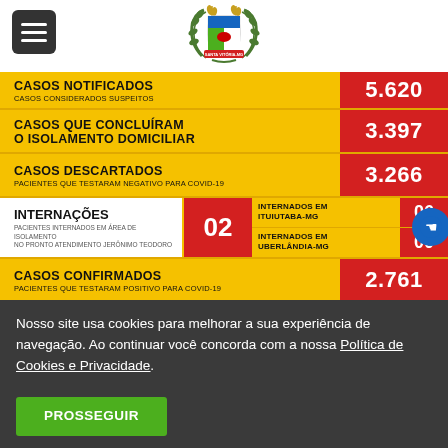[Figure (logo): Municipality coat of arms logo for Santa Vitória-MG with wheat and laurel wreath]
| Indicador | Valor |
| --- | --- |
| CASOS NOTIFICADOS / CASOS CONSIDERADOS SUSPEITOS | 5.620 |
| CASOS QUE CONCLUÍRAM O ISOLAMENTO DOMICILIAR | 3.397 |
| CASOS DESCARTADOS / PACIENTES QUE TESTARAM NEGATIVO PARA COVID-19 | 3.266 |
| INTERNAÇÕES (PACIENTES INTERNADOS EM ÁREA DE ISOLAMENTO NO PRONTO ATENDIMENTO JERÔNIMO TEODORO) | 02 |
| INTERNADOS EM ITUIUTABA-MG | 06 |
| INTERNADOS EM UBERLÂNDIA-MG | 00 |
| CASOS CONFIRMADOS / PACIENTES QUE TESTARAM POSITIVO PARA COVID-19 | 2.761 |
| CURADOS | 2.668 |
| ATIVOS | 35 |
Nosso site usa cookies para melhorar a sua experiência de navegação. Ao continuar você concorda com a nossa Política de Cookies e Privacidade.
PROSSEGUIR